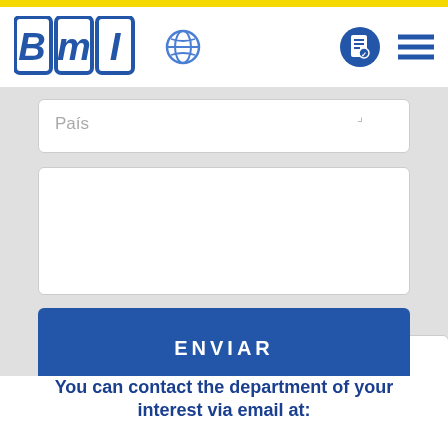[Figure (logo): BMI logo with globe icon and navigation icons on right]
País
Mensaje:
ENVIAR
You can contact the department of your interest via email at: